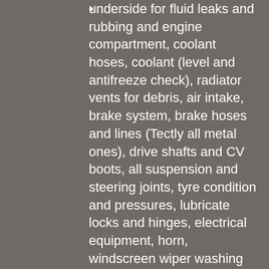underside for fluid leaks and rubbing and engine compartment, coolant hoses, coolant (level and antifreeze check), radiator vents for debris, air intake, brake system, brake hoses and lines (Tectly all metal ones), drive shafts and CV boots, all suspension and steering joints, tyre condition and pressures, lubricate locks and hinges, electrical equipment, horn, windscreen wiper washing system, power steering and fluid level check and lighting system (including headlights and indicators)
Complimentary one litre Mobil 1 top-up
Test drive
Wash and vacuum